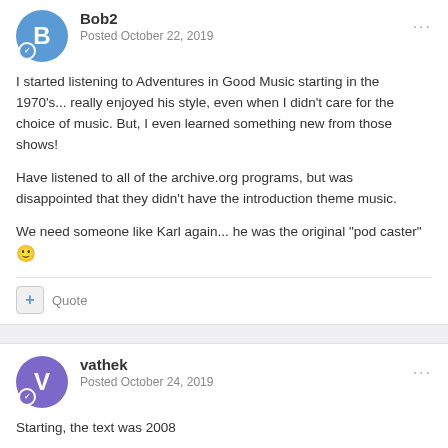Bob2 — Posted October 22, 2019
I started listening to Adventures in Good Music starting in the 1970's... really enjoyed his style, even when I didn't care for the choice of music. But, I even learned something new from those shows!
Have listened to all of the archive.org programs, but was disappointed that they didn't have the introduction theme music.
We need someone like Karl again... he was the original "pod caster" 🙂
+ Quote
vathek — Posted October 24, 2019
Starting, the text was 2008